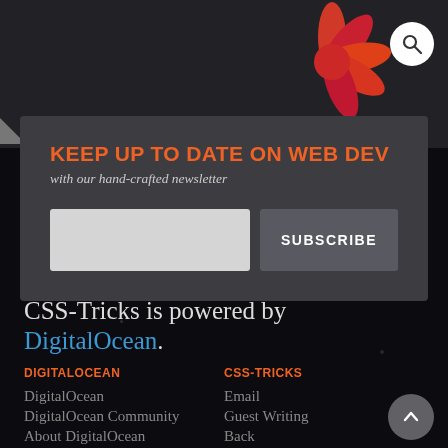[Figure (screenshot): CSS-Tricks website screenshot showing newsletter signup modal over dark background with star logo, DigitalOcean powered-by text, and footer links]
KEEP UP TO DATE ON WEB DEV
with our hand-crafted newsletter
SUBSCRIBE
CSS-Tricks is powered by DigitalOcean.
DIGITALOCEAN
DigitalOcean
DigitalOcean Community
About DigitalOcean
CSS-TRICKS
Email
Guest Writing
Back